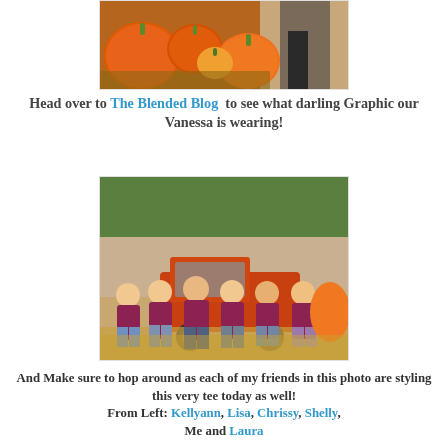[Figure (photo): Photo of pumpkins at a pumpkin patch, partially cropped at top]
Head over to The Blended Blog  to see what darling Graphic our Vanessa is wearing!
[Figure (photo): Group photo of six women in matching maroon/purple graphic tees standing in front of an orange truck at a pumpkin patch]
And Make sure to hop around as each of my friends in this photo are styling this very tee today as well! From Left: Kellyann, Lisa, Chrissy, Shelly, Me and Laura